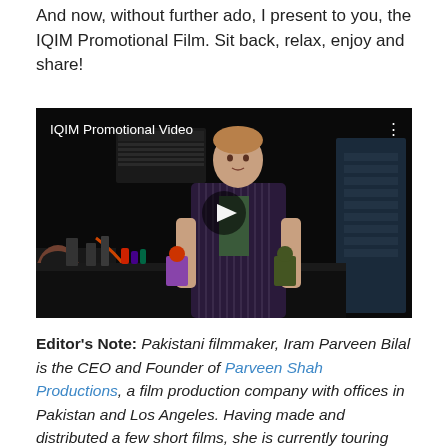And now, without further ado, I present to you, the IQIM Promotional Film. Sit back, relax, enjoy and share!
[Figure (screenshot): Embedded video player showing 'IQIM Promotional Video' with a dark lab background, a man holding two figurines in a laboratory setting. Play button visible in the center. Three-dot menu in top right.]
Editor's Note: Pakistani filmmaker, Iram Parveen Bilal is the CEO and Founder of Parveen Shah Productions, a film production company with offices in Pakistan and Los Angeles. Having made and distributed a few short films, she is currently touring with her noted first feature length